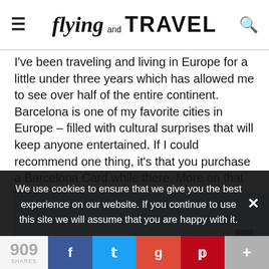flying and TRAVEL
I've been traveling and living in Europe for a little under three years which has allowed me to see over half of the entire continent. Barcelona is one of my favorite cities in Europe – filled with cultural surprises that will keep anyone entertained. If I could recommend one thing, it's that you purchase a Barcelona Card while there. More on that later!
[Figure (photo): Panoramic view of Barcelona cityscape with Gaudí architecture visible, taken from Park Güell, showing city skyline with the sea in the background]
We use cookies to ensure that we give you the best experience on our website. If you continue to use this site we will assume that you are happy with it.
909 SHARES — Facebook, Twitter, Google+, Pinterest, More